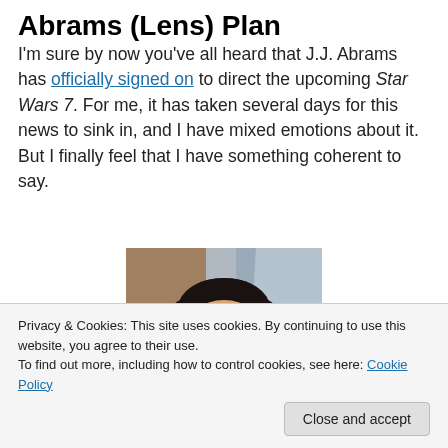Abrams (Lens) Plan
I’m sure by now you’ve all heard that J.J. Abrams has officially signed on to direct the upcoming Star Wars 7. For me, it has taken several days for this news to sink in, and I have mixed emotions about it. But I finally feel that I have something coherent to say.
[Figure (photo): A photo of J.J. Abrams, a man with curly dark hair and glasses, from the shoulders up.]
Privacy & Cookies: This site uses cookies. By continuing to use this website, you agree to their use.
To find out more, including how to control cookies, see here: Cookie Policy